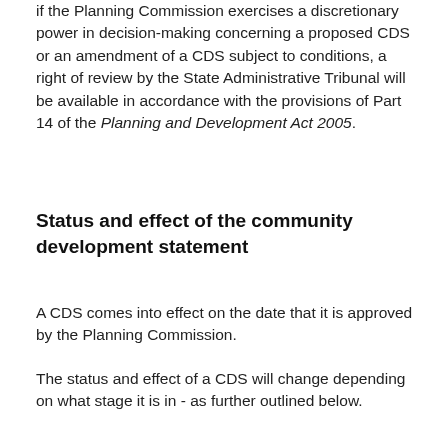if the Planning Commission exercises a discretionary power in decision-making concerning a proposed CDS or an amendment of a CDS subject to conditions, a right of review by the State Administrative Tribunal will be available in accordance with the provisions of Part 14 of the Planning and Development Act 2005.
Status and effect of the community development statement
A CDS comes into effect on the date that it is approved by the Planning Commission.
The status and effect of a CDS will change depending on what stage it is in - as further outlined below.